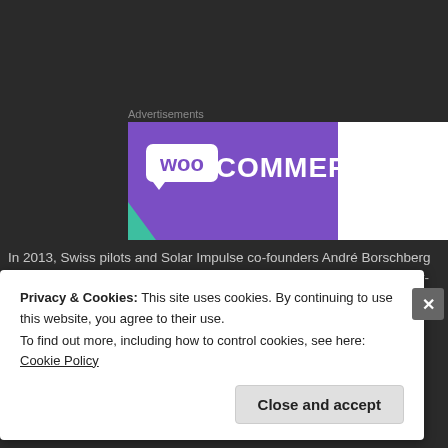Advertisements
[Figure (logo): WooCommerce advertisement banner with purple background and white logo text]
In 2013, Swiss pilots and Solar Impulse co-founders André Borschberg and Piccard took turns piloting a first-generation prototype of the solar-powered on a coast-to-coast journey across the United States. (Credit: © Solar Impul Revillard | Rezo.ch)
Privacy & Cookies: This site uses cookies. By continuing to use this website, you agree to their use.
To find out more, including how to control cookies, see here: Cookie Policy